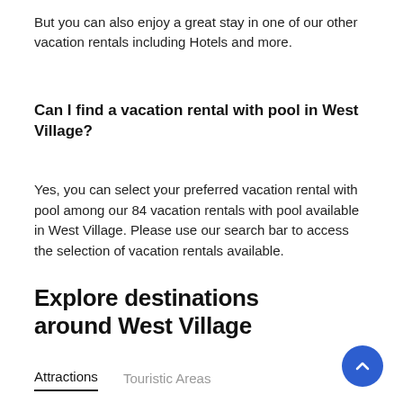But you can also enjoy a great stay in one of our other vacation rentals including Hotels and more.
Can I find a vacation rental with pool in West Village?
Yes, you can select your preferred vacation rental with pool among our 84 vacation rentals with pool available in West Village. Please use our search bar to access the selection of vacation rentals available.
Explore destinations around West Village
Attractions	Touristic Areas